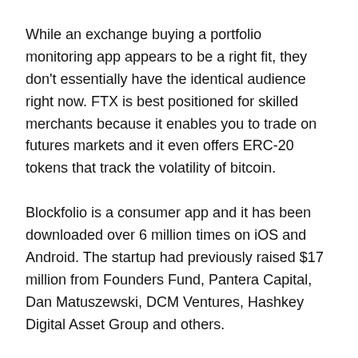While an exchange buying a portfolio monitoring app appears to be a right fit, they don't essentially have the identical audience right now. FTX is best positioned for skilled merchants because it enables you to trade on futures markets and it even offers ERC-20 tokens that track the volatility of bitcoin.
Blockfolio is a consumer app and it has been downloaded over 6 million times on iOS and Android. The startup had previously raised $17 million from Founders Fund, Pantera Capital, Dan Matuszewski, DCM Ventures, Hashkey Digital Asset Group and others.
As the name suggests, Blockfolio enables you to add your portfolio of cryptocurrencies and monitor their worth over time. The app additionally enables you to view market moves by searching for a token within the app. You can even automate